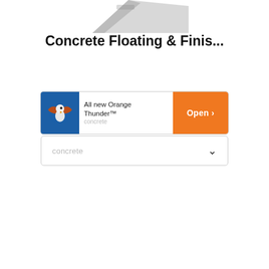[Figure (photo): Partial product image of a concrete floating and finishing tool, shown from an angle, partially cropped at the top]
Concrete Floating & Finis...
[Figure (infographic): Advertisement banner: Blue logo area on left with a bird/eagle illustration, text 'All new Orange Thunder™' and faded 'concrete' text in center, orange 'Open >' button on right]
concrete